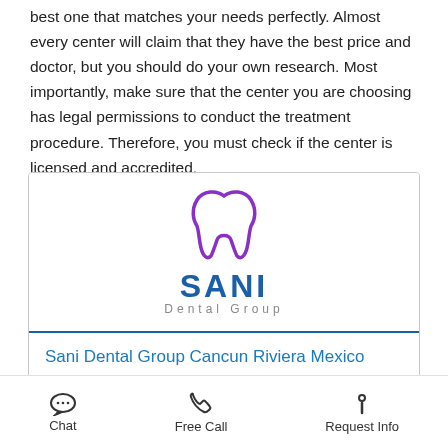best one that matches your needs perfectly. Almost every center will claim that they have the best price and doctor, but you should do your own research. Most importantly, make sure that the center you are choosing has legal permissions to conduct the treatment procedure. Therefore, you must check if the center is licensed and accredited.
[Figure (logo): Sani Dental Group logo with purple tooth graphic above bold blue SANI text and grey Dental Group subtitle]
Sani Dental Group Cancun Riviera Mexico
Chat   Free Call   Request Info